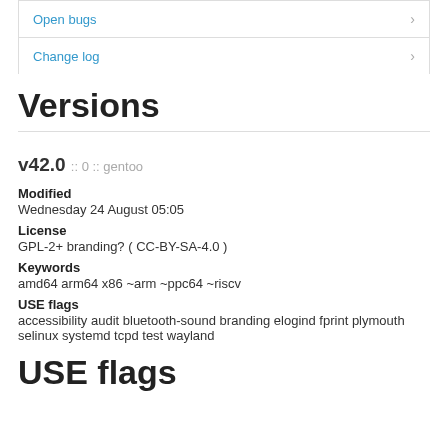Open bugs
Change log
Versions
v42.0 :: 0 :: gentoo
Modified
Wednesday 24 August 05:05
License
GPL-2+ branding? ( CC-BY-SA-4.0 )
Keywords
amd64 arm64 x86 ~arm ~ppc64 ~riscv
USE flags
accessibility audit bluetooth-sound branding elogind fprint plymouth selinux systemd tcpd test wayland
USE flags